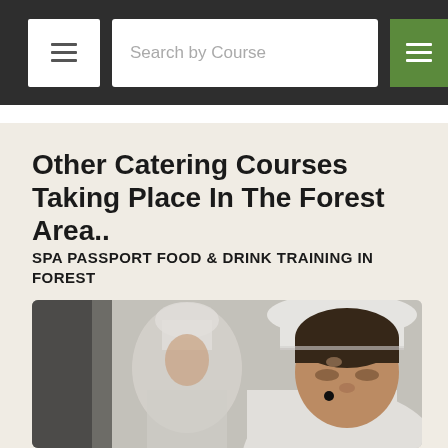Search by Course
Other Catering Courses Taking Place In The Forest Area..
SPA PASSPORT FOOD & DRINK TRAINING IN FOREST
[Figure (photo): Two chefs wearing white uniforms and chef hats working in a kitchen. A young male chef in the foreground is looking down, and an older chef is visible in the background.]